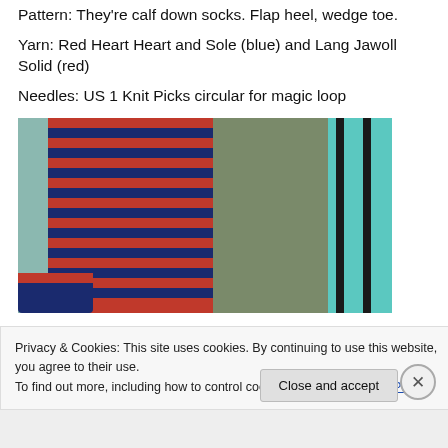Pattern: They're calf down socks. Flap heel, wedge toe.
Yarn: Red Heart Heart and Sole (blue) and Lang Jawoll Solid (red)
Needles: US 1 Knit Picks circular for magic loop
[Figure (photo): Close-up photo of a red and navy blue striped knitted sock, with a green fabric and teal/black striped background visible]
Privacy & Cookies: This site uses cookies. By continuing to use this website, you agree to their use.
To find out more, including how to control cookies, see here: Cookie Policy